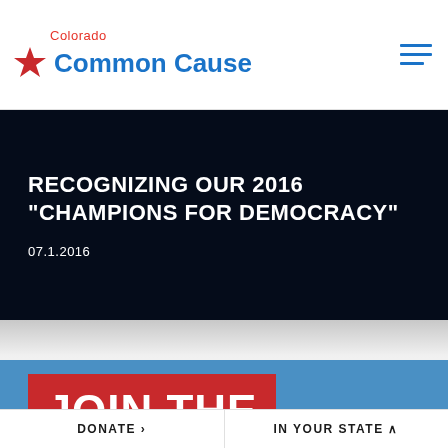Colorado Common Cause
RECOGNIZING OUR 2016 "CHAMPIONS FOR DEMOCRACY"
07.1.2016
JOIN THE
DONATE > | IN YOUR STATE ^